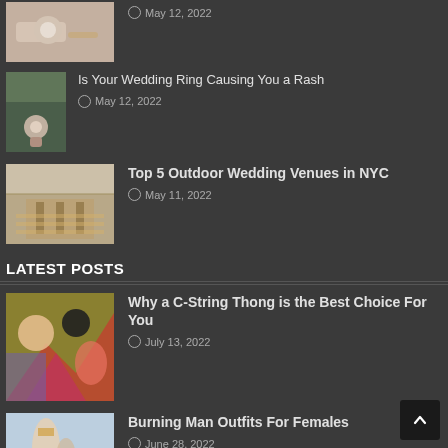[Figure (photo): Close-up of a diamond ring on fingers (partially visible at top)]
May 12, 2022
Is Your Wedding Ring Causing You a Rash
May 12, 2022
[Figure (photo): Outdoor wedding venue with tent and rows of chairs in NYC]
Top 5 Outdoor Wedding Venues in NYC
May 11, 2022
LATEST POSTS
[Figure (photo): Abstract colorful illustration with figures]
Why a C-String Thong is the Best Choice For You
July 13, 2022
[Figure (photo): Woman at Burning Man festival on beach]
Burning Man Outfits For Females
June 28, 2022